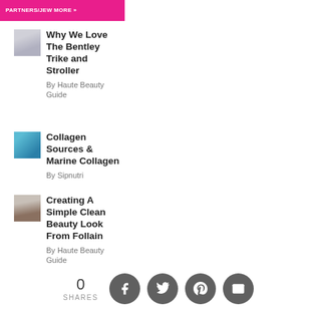[Figure (other): Pink banner with text: PARTNERS/JEW MORE »]
Why We Love The Bentley Trike and Stroller
By Haute Beauty Guide
Collagen Sources & Marine Collagen
By Sipnutri
Creating A Simple Clean Beauty Look From Follain
By Haute Beauty Guide
Halloween
0
SHARES